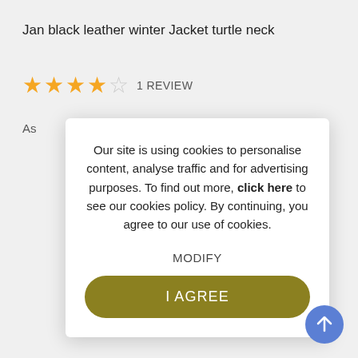Jan black leather winter Jacket turtle neck
★★★★☆  1 REVIEW
As
Our site is using cookies to personalise content, analyse traffic and for advertising purposes. To find out more, click here to see our cookies policy. By continuing, you agree to our use of cookies.
MODIFY
I AGREE